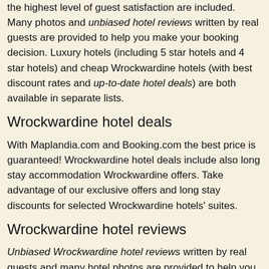the highest level of guest satisfaction are included. Many photos and unbiased hotel reviews written by real guests are provided to help you make your booking decision. Luxury hotels (including 5 star hotels and 4 star hotels) and cheap Wrockwardine hotels (with best discount rates and up-to-date hotel deals) are both available in separate lists.
Wrockwardine hotel deals
With Maplandia.com and Booking.com the best price is guaranteed! Wrockwardine hotel deals include also long stay accommodation Wrockwardine offers. Take advantage of our exclusive offers and long stay discounts for selected Wrockwardine hotels' suites.
Wrockwardine hotel reviews
Unbiased Wrockwardine hotel reviews written by real guests and many hotel photos are provided to help you make your booking decision.
Wrockwardine location – see
Wrockwardine map »
Wrockwardine is located in The Wrekin, West Midlands,